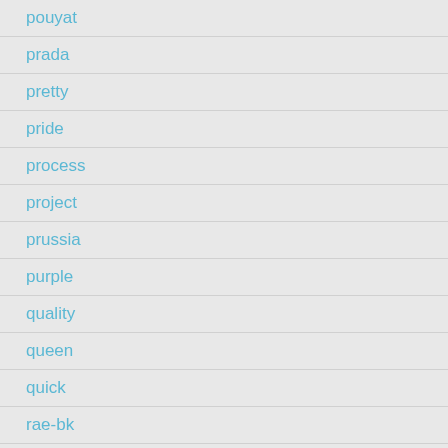pouyat
prada
pretty
pride
process
project
prussia
purple
quality
queen
quick
rae-bk
rafael